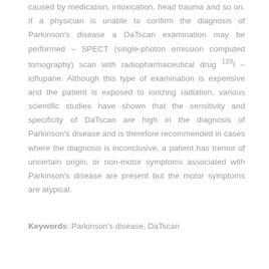caused by medication, intoxication, head trauma and so on. If a physician is unable to confirm the diagnosis of Parkinson's disease a DaTscan examination may be performed – SPECT (single-photon emission computed tomography) scan with radiopharmaceutical drug 123I – ioflupane. Although this type of examination is expensive and the patient is exposed to ionizing radiation, various scientific studies have shown that the sensitivity and specificity of DaTscan are high in the diagnosis of Parkinson's disease and is therefore recommended in cases where the diagnosis is inconclusive, a patient has tremor of uncertain origin, or non-motor symptoms associated with Parkinson's disease are present but the motor symptoms are atypical.
Keywords: Parkinson's disease, DaTscan